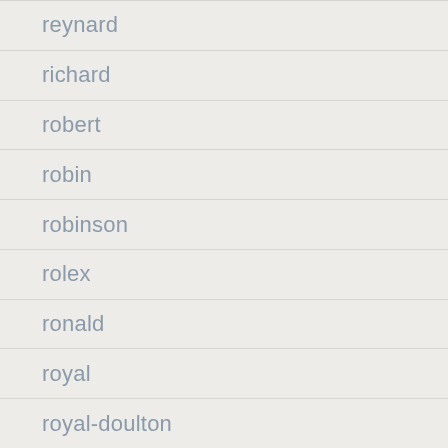reynard
richard
robert
robin
robinson
rolex
ronald
royal
royal-doulton